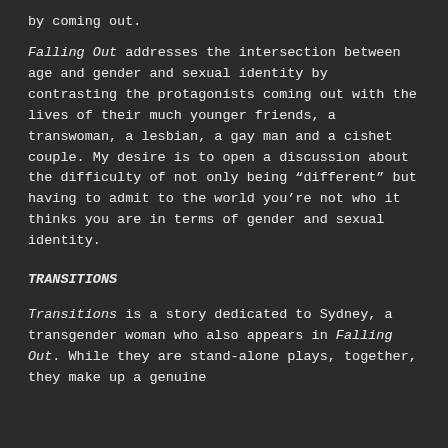by coming out.
Falling Out addresses the intersection between age and gender and sexual identity by contrasting the protagonists coming out with the lives of their much younger friends, a transwoman, a lesbian, a gay man and a cishet couple. My desire is to open a discussion about the difficulty of not only being “different” but having to admit to the world you’re not who it thinks you are in terms of gender and sexual identity.
TRANSITIONS
Transitions is a story dedicated to Sydney, a transgender woman who also appears in Falling Out. While they are stand-alone plays, together, they make up a genuine